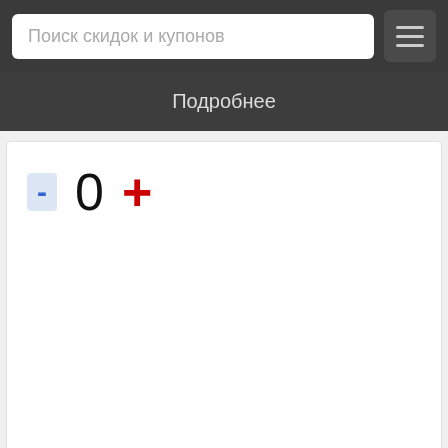Поиск скидок и купонов
Подробнее
- 0 +